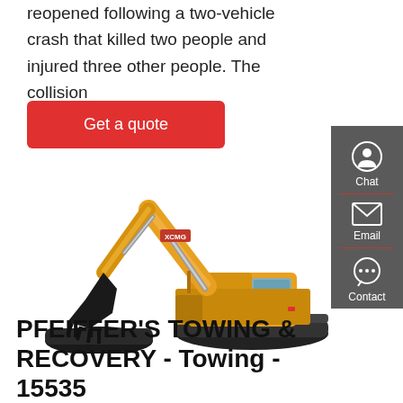reopened following a two-vehicle crash that killed two people and injured three other people. The collision
Get a quote
[Figure (photo): Yellow XCMG crawler excavator with black bucket attachment on white background]
Chat
Email
Contact
PFEIFFER'S TOWING & RECOVERY - Towing - 15535